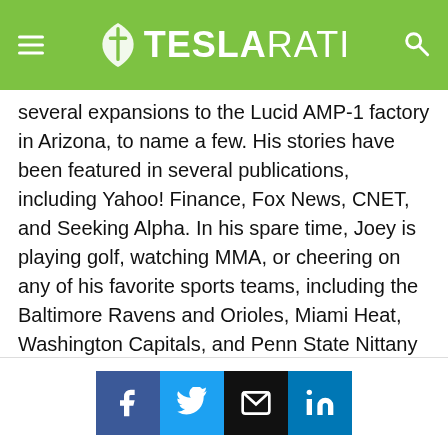TESLARATI
several expansions to the Lucid AMP-1 factory in Arizona, to name a few. His stories have been featured in several publications, including Yahoo! Finance, Fox News, CNET, and Seeking Alpha. In his spare time, Joey is playing golf, watching MMA, or cheering on any of his favorite sports teams, including the Baltimore Ravens and Orioles, Miami Heat, Washington Capitals, and Penn State Nittany Lions. You can get in touch with joey at joey@teslarati.com. He is also on Twitter @KlenderJoey.
Share buttons: Facebook, Twitter, Email, LinkedIn